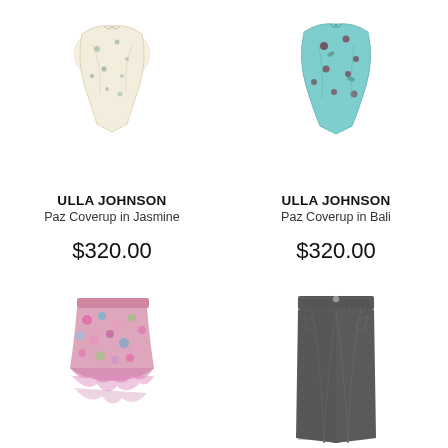[Figure (photo): Floral cream/ivory coverup garment - Paz Coverup in Jasmine by Ulla Johnson]
[Figure (photo): Turquoise floral coverup garment - Paz Coverup in Bali by Ulla Johnson]
ULLA JOHNSON
Paz Coverup in Jasmine
$320.00
ULLA JOHNSON
Paz Coverup in Bali
$320.00
[Figure (photo): Pink and multicolor floral ruffled mini skirt]
[Figure (photo): Dark grey/charcoal denim midi skirt]